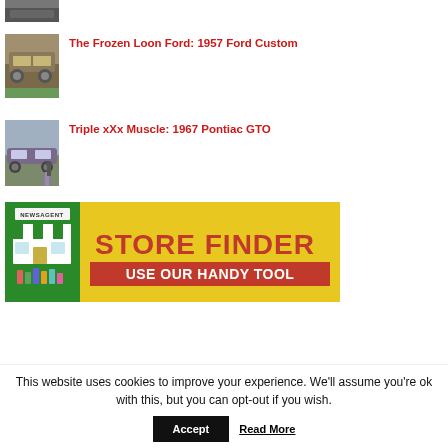[Figure (photo): Partial image of a car at top, cropped]
The Frozen Loon Ford: 1957 Ford Custom
[Figure (photo): Old rusted 1957 Ford Custom car in a field]
Triple xXx Muscle: 1967 Pontiac GTO
[Figure (photo): Purple 1967 Pontiac GTO muscle car with person standing beside it]
[Figure (illustration): Store Finder banner ad - Newsagent store finder, use our handy tool]
This website uses cookies to improve your experience. We'll assume you're ok with this, but you can opt-out if you wish.
Accept   Read More